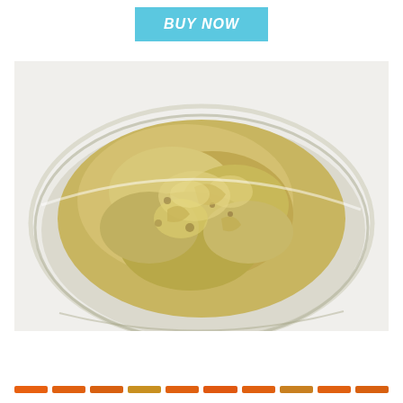BUY NOW
[Figure (photo): Top-down view of a glass bowl filled with a creamy yellow-green paste or sauce, photographed on a white background]
[Figure (other): A row of orange and yellow horizontal dashes/rectangles decorative divider]